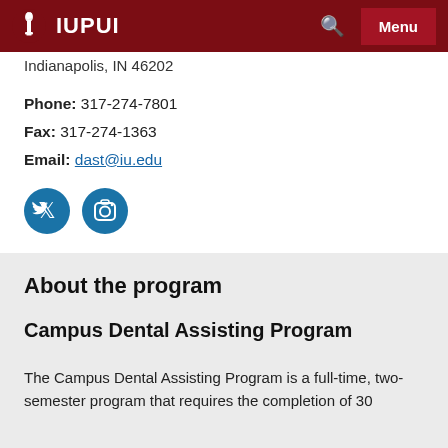IUPUI
Indianapolis, IN 46202
Phone: 317-274-7801
Fax: 317-274-1363
Email: dast@iu.edu
[Figure (other): Twitter and Instagram social media icon buttons (circular blue icons)]
About the program
Campus Dental Assisting Program
The Campus Dental Assisting Program is a full-time, two-semester program that requires the completion of 30